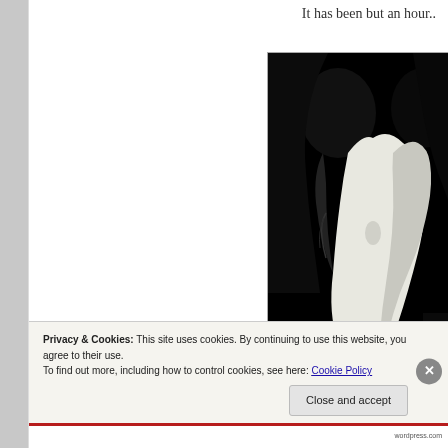It has been but an hour..
[Figure (photo): Black and white silhouette photograph of two people (a couple) about to kiss, facing each other in profile against a dark background, with dramatic light highlighting their faces and necks.]
Privacy & Cookies: This site uses cookies. By continuing to use this website, you agree to their use.
To find out more, including how to control cookies, see here: Cookie Policy
Close and accept